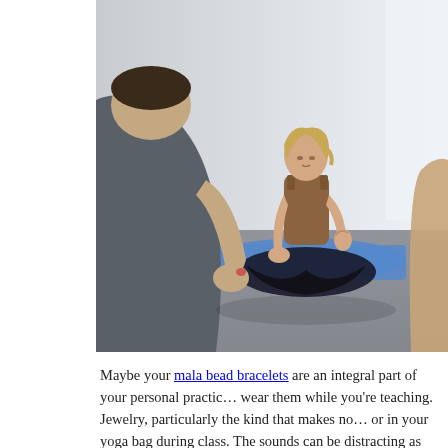[Figure (photo): A yoga instructor sits cross-legged on a blue mat in meditation pose with one hand raised in a mudra gesture, wearing a brown tank top and black pants. Two students are seen from behind in the foreground, one in a grey tank top on the left and one partially visible on the right. The setting is a bright yoga studio with light grey walls and wooden floor.]
Maybe your mala bead bracelets are an integral part of your personal practice but you shouldn't wear them while you're teaching. Jewelry, particularly the kind that makes noise, should be left off or in your yoga bag during class. The sounds can be distracting as you move to help adjust the posture of your students. Not only that, but these pieces could